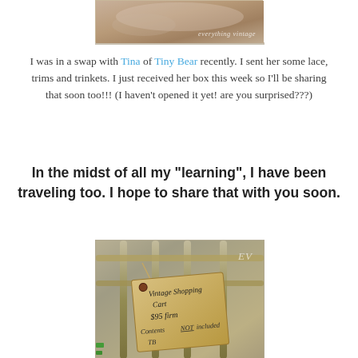[Figure (photo): Top portion of a vintage-styled photo with 'everything vintage' watermark text in cursive]
I was in a swap with Tina of Tiny Bear recently. I sent her some lace, trims and trinkets. I just received her box this week so I'll be sharing that soon too!!! (I haven't opened it yet! are you surprised???)
In the midst of all my "learning", I have been traveling too. I hope to share that with you soon.
[Figure (photo): Photo of a vintage shopping cart with a handwritten tag reading: Vintage Shopping Cart $95 firm Contents NOT included TB. The EV initials appear in the upper right corner.]